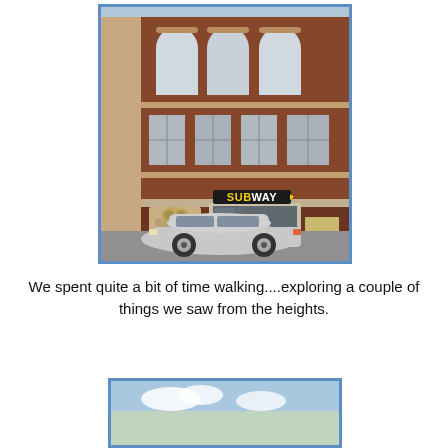[Figure (photo): Exterior photo of a Subway restaurant storefront in a multi-story brick building. A silver sedan is parked in front. The building has arched windows on the top floor and rectangular windows on the second floor. The Subway logo sign is visible on the facade.]
We spent quite a bit of time walking....exploring a couple of things we saw from the heights.
[Figure (photo): Partial photo visible at the bottom of the page, showing what appears to be an outdoor scene with blue sky.]